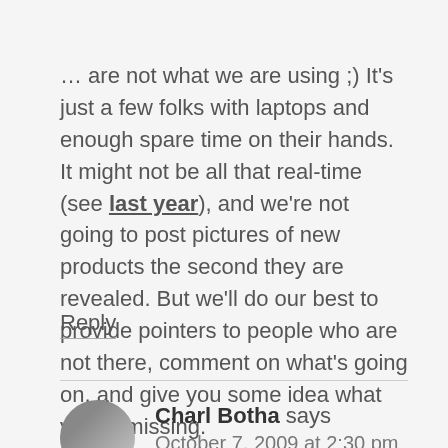… are not what we are using ;) It's just a few folks with laptops and enough spare time on their hands. It might not be all that real-time (see last year), and we're not going to post pictures of new products the second they are revealed. But we'll do our best to provide pointers to people who are not there, comment on what's going on, and give you some idea what you're missing.
Reply
Charl Botha says
October 7, 2009 at 2:30 pm